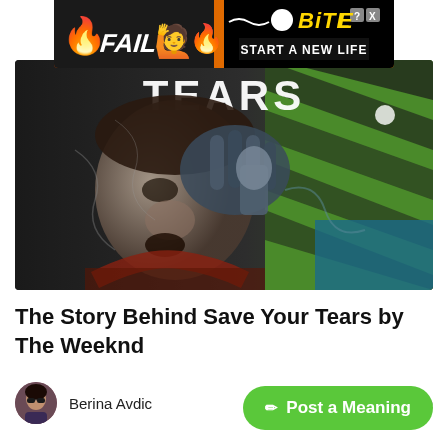[Figure (screenshot): Advertisement banner for BitLife game showing 'FAIL' text, animated character, flames, BitLife logo, and 'START A NEW LIFE' call to action]
[Figure (illustration): Stylized digital artwork showing a man holding a microphone, crying or in emotional distress, with the word 'TEARS' written at the top. Dark grayscale tones with green and blue accents on the right side.]
The Story Behind Save Your Tears by The Weeknd
Berina Avdic
1 year ago
Post a Meaning